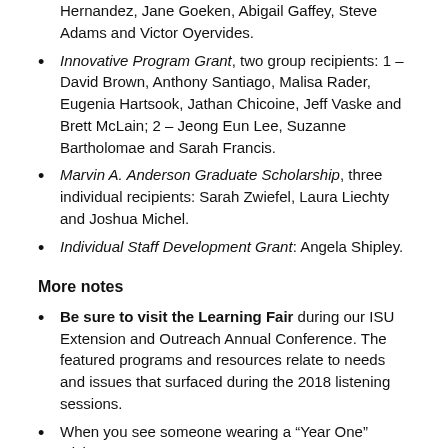Hernandez, Jane Goeken, Abigail Gaffey, Steve Adams and Victor Oyervides.
Innovative Program Grant, two group recipients: 1 – David Brown, Anthony Santiago, Malisa Rader, Eugenia Hartsook, Jathan Chicoine, Jeff Vaske and Brett McLain; 2 – Jeong Eun Lee, Suzanne Bartholomae and Sarah Francis.
Marvin A. Anderson Graduate Scholarship, three individual recipients: Sarah Zwiefel, Laura Liechty and Joshua Michel.
Individual Staff Development Grant: Angela Shipley.
More notes
Be sure to visit the Learning Fair during our ISU Extension and Outreach Annual Conference. The featured programs and resources relate to needs and issues that surfaced during the 2018 listening sessions.
When you see someone wearing a "Year One" sticker